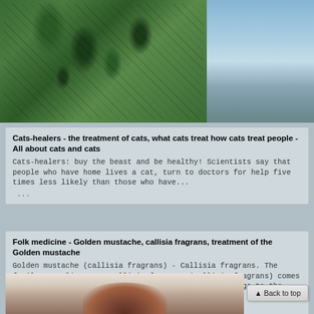[Figure (photo): Close-up photo of a spiky green tropical fruit (soursop/guanabana) with large green leaves, and a blurred blue sky background on the right]
Cats-healers - the treatment of cats, what cats treat how cats treat people - All about cats and cats
Cats-healers: buy the beast and be healthy! Scientists say that people who have home lives a cat, turn to doctors for help five times less likely than those who have...
 ...
Folk medicine - Golden mustache, callisia fragrans, treatment of the Golden mustache
Golden mustache (callisia fragrans) - Callisia fragrans. The family commelinaceae. Callisia fragrans (Callisia fragrans) comes from the tropical forests of South America and belongs to the family commelinaceae (Comemelinaceae). At...
 ...
[Figure (photo): Partial photo showing the top of a person's head with dark brown hair against a white background]
▲ Back to top